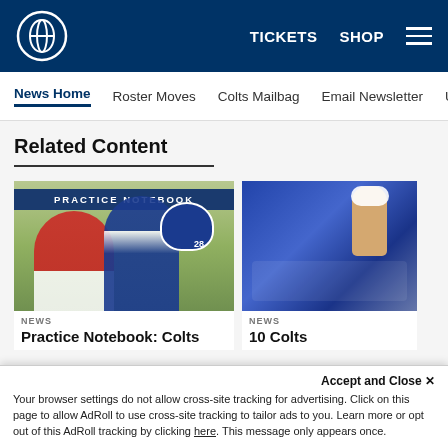Indianapolis Colts - TICKETS  SHOP
News Home  Roster Moves  Colts Mailbag  Email Newsletter  U
Related Content
[Figure (photo): Practice Notebook card with Colts players in practice jerseys]
NEWS
Practice Notebook: Colts
[Figure (photo): Second news card showing Colts player with fist raised in crowd]
NEWS
10 Colts
Accept and Close ✕
Your browser settings do not allow cross-site tracking for advertising. Click on this page to allow AdRoll to use cross-site tracking to tailor ads to you. Learn more or opt out of this AdRoll tracking by clicking here. This message only appears once.